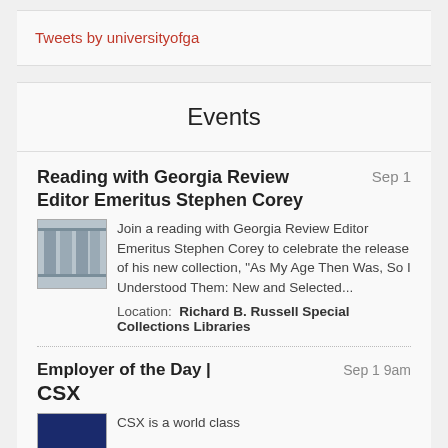Tweets by universityofga
Events
Reading with Georgia Review Editor Emeritus Stephen Corey   Sep 1
[Figure (photo): Photograph of a building or books, grayscale]
Join a reading with Georgia Review Editor Emeritus Stephen Corey to celebrate the release of his new collection, "As My Age Then Was, So I Understood Them: New and Selected...
Location:  Richard B. Russell Special Collections Libraries
Employer of the Day | CSX   Sep 1 9am
[Figure (logo): CSX logo on dark blue background]
CSX is a world class